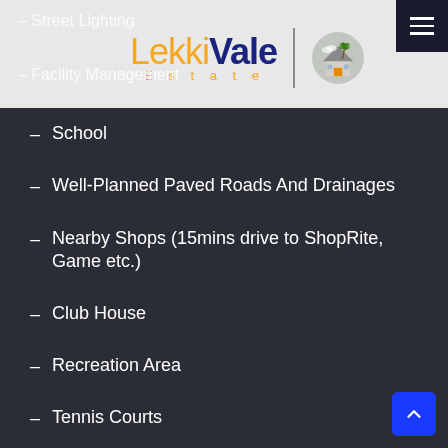[Figure (logo): LekkiVale Estate logo with palm tree house icon]
Street Lighting
Facility Management
School
Well-Planned Paved Roads And Drainages
Nearby Shops (15mins drive to ShopRite, Game etc.)
Club House
Recreation Area
Tennis Courts
Basketball Court